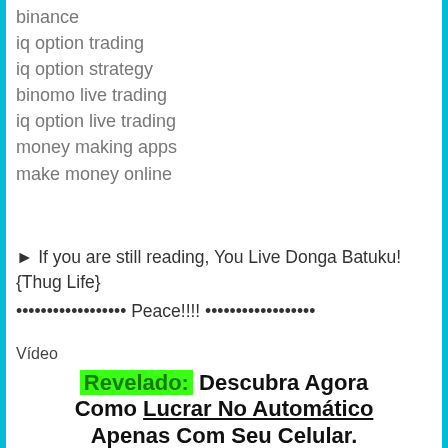binance
iq option trading
iq option strategy
binomo live trading
iq option live trading
money making apps
make money online
► If you are still reading, You Live Donga Batuku! {Thug Life}
•••••••••••••••••• Peace!!!! ••••••••••••••••••
Vídeo
[Figure (screenshot): Video thumbnail showing 'Revelado: Descubra Agora Como Lucrar No Automático Apenas Com Seu Celular.' with a video preview showing 'LUCRE ATÉ' text on dark background with green border]